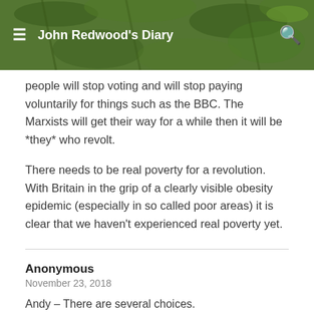John Redwood's Diary
people will stop voting and will stop paying voluntarily for things such as the BBC. The Marxists will get their way for a while then it will be *they* who revolt.
There needs to be real poverty for a revolution. With Britain in the grip of a clearly visible obesity epidemic (especially in so called poor areas) it is clear that we haven't experienced real poverty yet.
Anonymous
November 23, 2018
Andy – There are several choices.